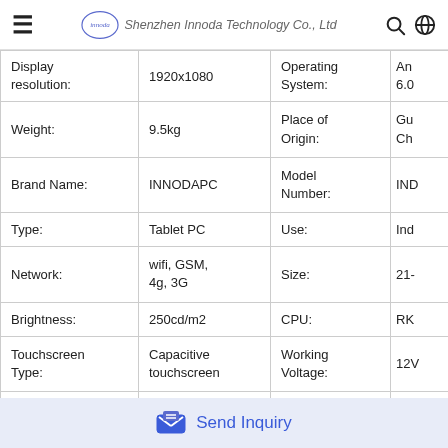Shenzhen Innoda Technology Co., Ltd
| Attribute | Value | Attribute | Value |
| --- | --- | --- | --- |
| Display resolution: | 1920x1080 | Operating System: | And... 6.0 |
| Weight: | 9.5kg | Place of Origin: | Gu... Ch... |
| Brand Name: | INNODAPC | Model Number: | IND... |
| Type: | Tablet PC | Use: | Ind... |
| Network: | wifi, GSM, 4g, 3G | Size: | 21-... |
| Brightness: | 250cd/m2 | CPU: | RK... |
| Touchscreen Type: | Capacitive touchscreen | Working Voltage: | 12V... |
| WIFI: | Integrated | Interface: | US... |
Send Inquiry